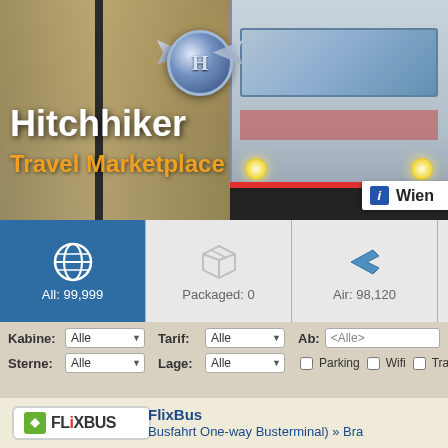[Figure (screenshot): Hero banner with Hitchhiker Travel Marketplace logo, tram photo, and Wien badge]
Hitchhiker
Travel Marketplace
Wien
[Figure (infographic): Category tabs: All 99,999 (globe icon, active/blue), Packaged: 0 (box icon), Air: 98,120 (airplane icon)]
All: 99,999
Packaged: 0
Air: 98,120
Kabine: Alle  Tarif: Alle  Ab: <Alle>
Sterne: Alle  Lage: Alle  Parking  Wifi  Tra
[Figure (logo): FlixBus logo - green icon with FLIXBUS text]
FlixBus
Busfahrt One-way Busterminal) » Bra